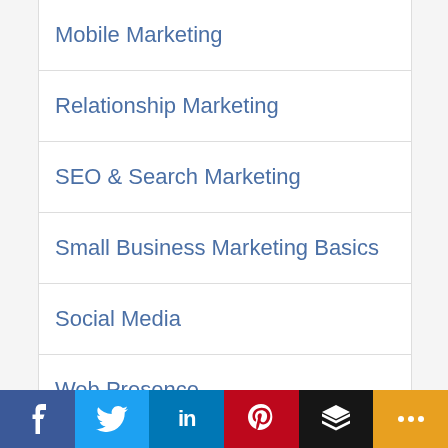Mobile Marketing
Relationship Marketing
SEO & Search Marketing
Small Business Marketing Basics
Social Media
Web Presence
WordPress
[Figure (infographic): Social media sharing bar with icons for Facebook, Twitter, LinkedIn, Pinterest, Buffer/layers, and a More (+) button]